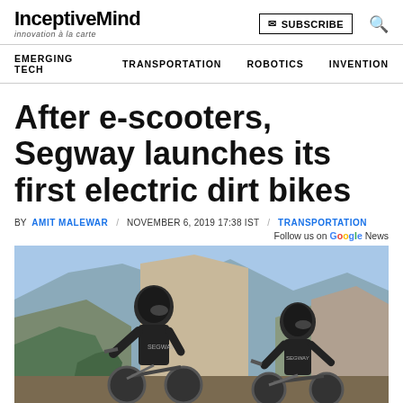InceptiveMind — innovation à la carte
SUBSCRIBE
EMERGING TECH   TRANSPORTATION   ROBOTICS   INVENTION
After e-scooters, Segway launches its first electric dirt bikes
BY AMIT MALEWAR  /  NOVEMBER 6, 2019 17:38 IST  /  TRANSPORTATION
Follow us on Google News
[Figure (photo): Two riders in Segway gear and helmets on electric dirt bikes in a mountainous Yosemite-style landscape with tall granite cliffs and blue sky.]